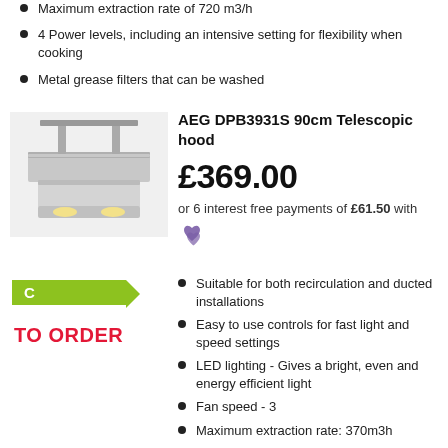Maximum extraction rate of 720 m3/h
4 Power levels, including an intensive setting for flexibility when cooking
Metal grease filters that can be washed
AEG DPB3931S 90cm Telescopic hood
£369.00
or 6 interest free payments of £61.50 with
[Figure (logo): Laybuy heart/double-chevron logo in purple]
[Figure (photo): AEG telescopic extractor hood product photo, silver/stainless steel]
[Figure (infographic): Energy efficiency label showing rating C in green]
TO ORDER
Suitable for both recirculation and ducted installations
Easy to use controls for fast light and speed settings
LED lighting - Gives a bright, even and energy efficient light
Fan speed - 3
Maximum extraction rate: 370m3h